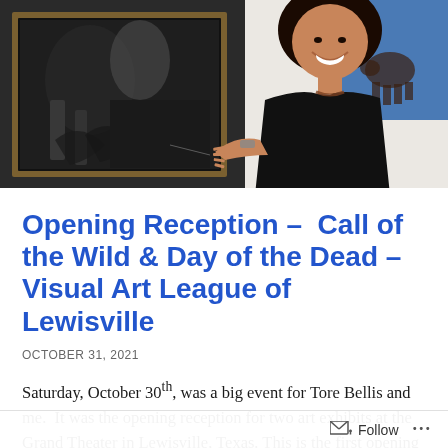[Figure (photo): A woman in a black top smiling and pointing at a large framed black-and-white photograph hanging on a white gallery wall. On the right side, a blue-background artwork is partially visible. The scene is at an art gallery opening reception.]
Opening Reception – Call of the Wild & Day of the Dead – Visual Art League of Lewisville
OCTOBER 31, 2021
Saturday, October 30th, was a big event for Tore Bellis and me. It was the opening reception for two art exhibits at the Grand Theater in Lewisville, Texas. This is the first opening reception we've